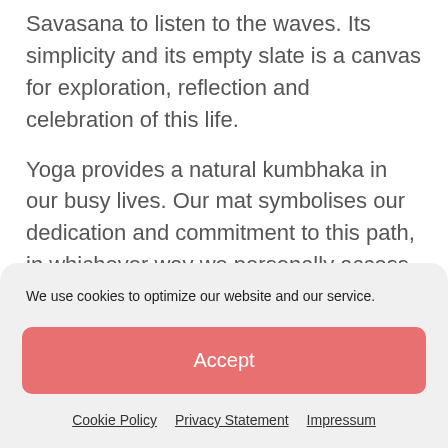Savasana to listen to the waves. Its simplicity and its empty slate is a canvas for exploration, reflection and celebration of this life.
Yoga provides a natural kumbhaka in our busy lives. Our mat symbolises our dedication and commitment to this path, in whichever way we personally access and express it. It is our personal choice whether to roll it out or not.
As I lay down in the evening sun, my mat immediately provides familiarity, comfort and…
We use cookies to optimize our website and our service.
Accept
Cookie Policy   Privacy Statement   Impressum